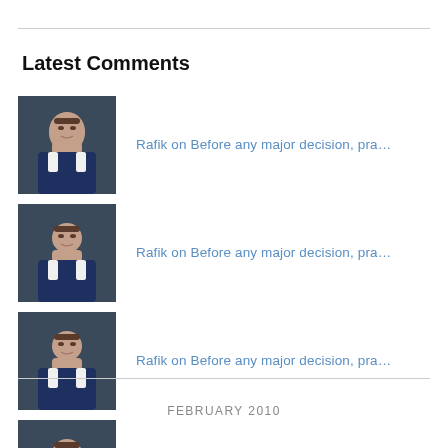Latest Comments
Rafik on Before any major decision, pra…
Rafik on Before any major decision, pra…
Rafik on Before any major decision, pra…
Rafik on Workers' Safety, Health…
Rafik on Muslim Women in the U.S. Milit…
FEBRUARY 2010